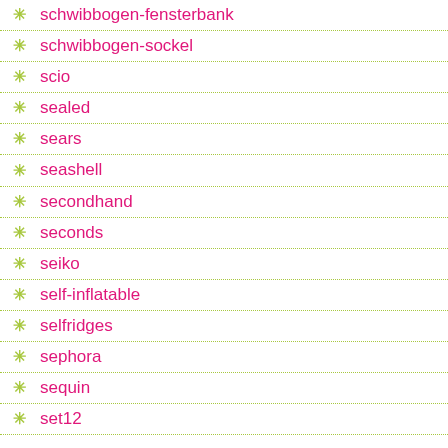schwibbogen-fensterbank
schwibbogen-sockel
scio
sealed
sears
seashell
secondhand
seconds
seiko
self-inflatable
selfridges
sephora
sequin
set12